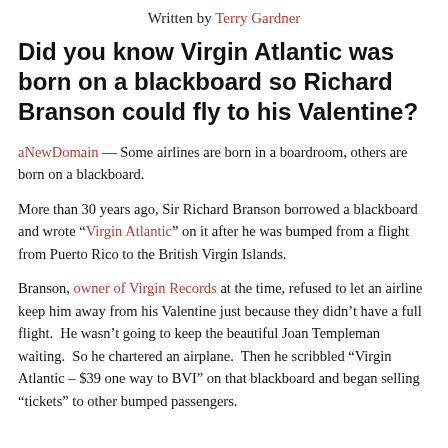Written by Terry Gardner
Did you know Virgin Atlantic was born on a blackboard so Richard Branson could fly to his Valentine?
aNewDomain — Some airlines are born in a boardroom, others are born on a blackboard.
More than 30 years ago, Sir Richard Branson borrowed a blackboard and wrote “Virgin Atlantic” on it after he was bumped from a flight from Puerto Rico to the British Virgin Islands.
Branson, owner of Virgin Records at the time, refused to let an airline keep him away from his Valentine just because they didn’t have a full flight.  He wasn’t going to keep the beautiful Joan Templeman waiting.  So he chartered an airplane.  Then he scribbled “Virgin Atlantic – $39 one way to BVI” on that blackboard and began selling “tickets” to other bumped passengers.